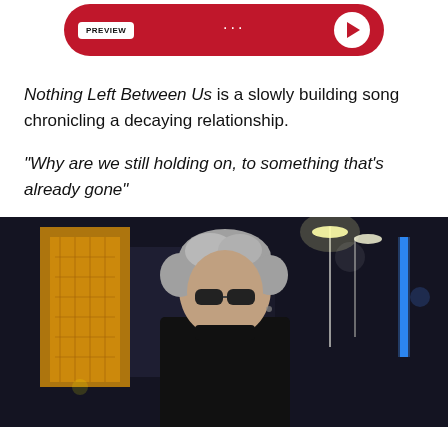[Figure (other): Music streaming player widget with red rounded background, PREVIEW button on left, three dots in center, and white circular play button on right]
Nothing Left Between Us is a slowly building song chronicling a decaying relationship.
“Why are we still holding on, to something that’s already gone”
[Figure (photo): Night cityscape photo showing a grey-haired man wearing dark sunglasses and a black turtleneck, looking down. Behind him are illuminated city buildings at night with yellow/orange light on a tall building to the left and blue neon lights to the right, with street lights visible.]